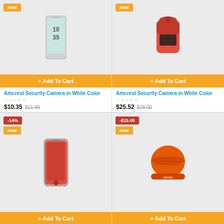[Figure (photo): Smartphone product image with 'New' badge and '+ Add To Cart' button]
Amcrest Security Camera in White Color
★☆☆☆☆
$10.35  $11.90
[Figure (photo): Red backpack product image with 'New' badge and '+ Add To Cart' button]
Amcrest Security Camera in White Color
★☆☆☆☆
$25.52  $29.00
[Figure (photo): Red iPhone product image with '-14%' and 'New' badges and '+ Add To Cart' button]
[Figure (photo): Orange/red portable speaker with '-$15.00' and 'New' badges and '+ Add To Cart' button]